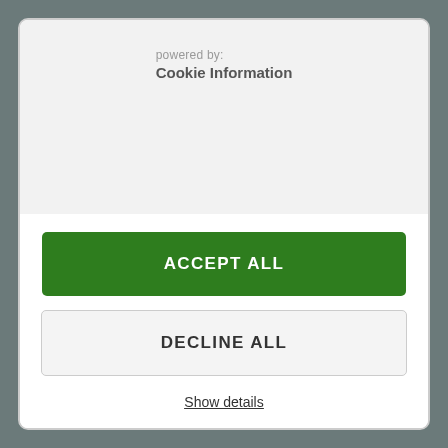powered by:
Cookie Information
ACCEPT ALL
DECLINE ALL
Show details